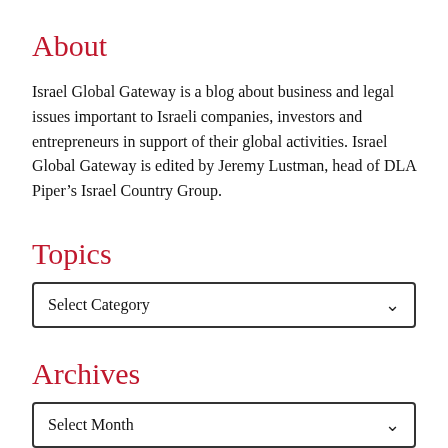About
Israel Global Gateway is a blog about business and legal issues important to Israeli companies, investors and entrepreneurs in support of their global activities. Israel Global Gateway is edited by Jeremy Lustman, head of DLA Piper’s Israel Country Group.
Topics
Select Category
Archives
Select Month